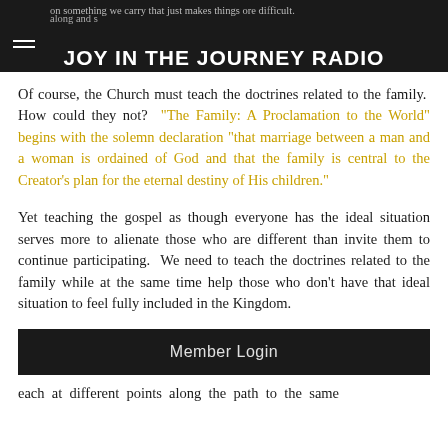JOY IN THE JOURNEY RADIO
Of course, the Church must teach the doctrines related to the family. How could they not? "The Family: A Proclamation to the World" begins with the solemn declaration "that marriage between a man and a woman is ordained of God and that the family is central to the Creator's plan for the eternal destiny of His children."
Yet teaching the gospel as though everyone has the ideal situation serves more to alienate those who are different than invite them to continue participating. We need to teach the doctrines related to the family while at the same time help those who don't have that ideal situation to feel fully included in the Kingdom.
Member Login
each at different points along the path to the same